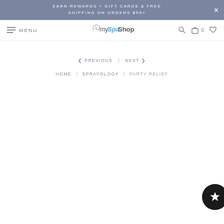EARN REWARDS + GIFT CARDS & FREE SHIPPING ON ORDERS $50+
[Figure (screenshot): mySpaShop website navigation bar with hamburger menu icon and MENU text on left, mySpaShop logo in center, search icon, shopping bag with 0 count, and heart icon on right]
< PREVIOUS | NEXT >
HOME / SPRAYOLOGY / PARTY RELIEF
[Figure (other): Dark circular reward/loyalty button with a star icon, partially visible at right edge]